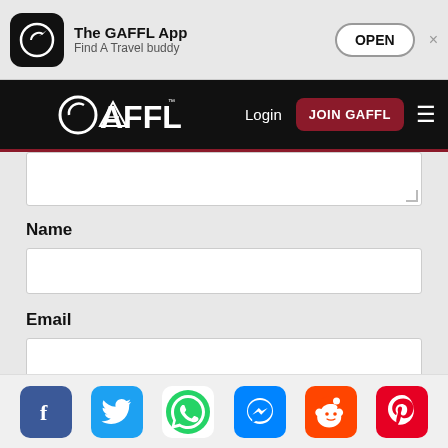[Figure (screenshot): GAFFL app banner with icon, title 'The GAFFL App', subtitle 'Find A Travel buddy', OPEN button, and close X]
[Figure (screenshot): GAFFL navigation bar with logo, Login text, JOIN GAFFL button, and hamburger menu icon]
(textarea input field, partially visible)
Name
(name input field)
Email
(email input field)
POST COMMENT
[Figure (screenshot): Social sharing bar with icons: Facebook, Twitter, WhatsApp, Messenger, Reddit, Pinterest]